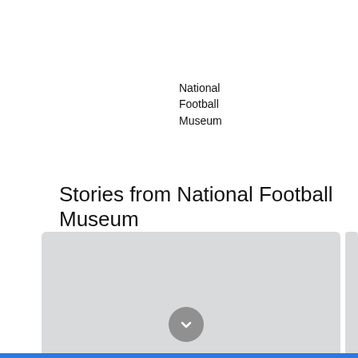National
Football
Museum
Stories from National Football Museum
[Figure (other): Light grey card/image placeholder with a grey circular chevron-down button centered at the bottom. A partial second card is visible on the right edge.]